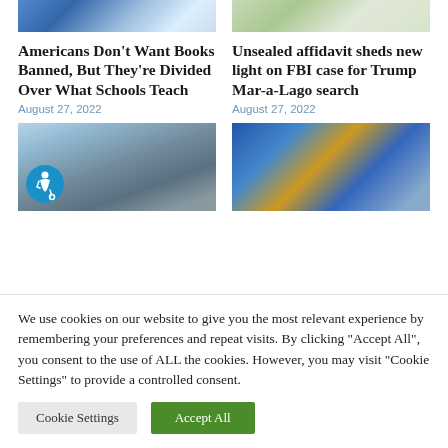[Figure (photo): Top cropped image left: illustrated/graphic image with blue tones showing people figures]
[Figure (photo): Top cropped image right: outdoor scene with trees]
Americans Don’t Want Books Banned, But They’re Divided Over What Schools Teach
August 27, 2022
Unsealed affidavit sheds new light on FBI case for Trump Mar-a-Lago search
August 27, 2022
[Figure (photo): Interior design photo of a modern dining room with large windows overlooking water, with accessibility icon overlay]
[Figure (photo): Photo of a group of people outdoors]
We use cookies on our website to give you the most relevant experience by remembering your preferences and repeat visits. By clicking “Accept All”, you consent to the use of ALL the cookies. However, you may visit "Cookie Settings" to provide a controlled consent.